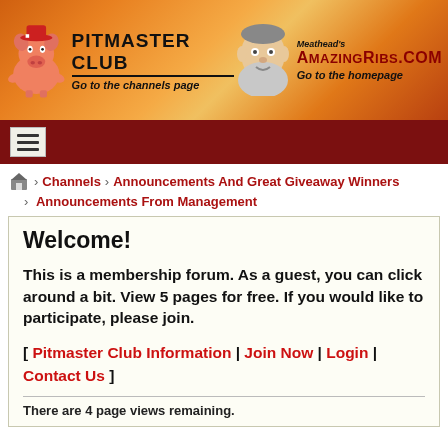[Figure (screenshot): Pitmaster Club logo with cartoon pig on orange flame background]
PITMASTER CLUB - Go to the channels page | Meathead's AmazingRibs.com - Go to the homepage
Channels > Announcements And Great Giveaway Winners > Announcements From Management
Welcome!
This is a membership forum. As a guest, you can click around a bit. View 5 pages for free. If you would like to participate, please join.
[ Pitmaster Club Information | Join Now | Login | Contact Us ]
There are 4 page views remaining.